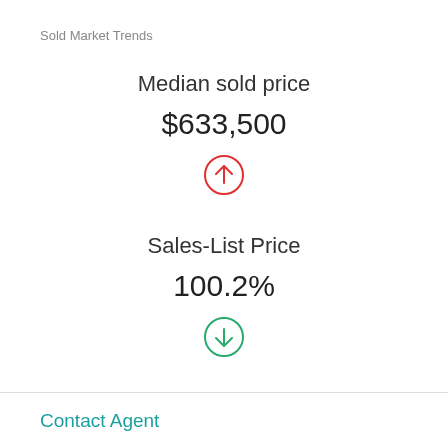Sold Market Trends
Median sold price
$633,500
[Figure (infographic): Red circle with upward arrow icon indicating increase]
Sales-List Price
100.2%
[Figure (infographic): Green circle with downward arrow icon indicating decrease]
Contact Agent